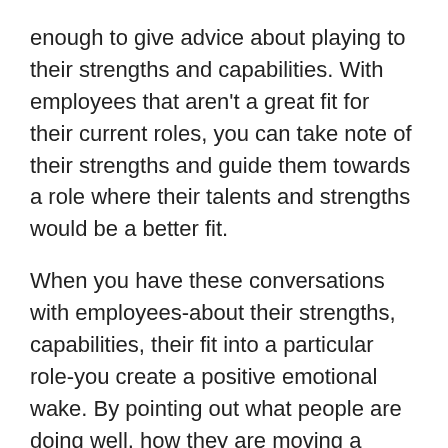enough to give advice about playing to their strengths and capabilities. With employees that aren't a great fit for their current roles, you can take note of their strengths and guide them towards a role where their talents and strengths would be a better fit.
When you have these conversations with employees-about their strengths, capabilities, their fit into a particular role-you create a positive emotional wake. By pointing out what people are doing well, how they are moving a project forward or how they add value to the team, you are building a positive emotional wake. Conversely, when we criticize or try to fix other people, we are creating a negative emotional wake in that relationship.
If you find you're creating a negative emotional wake, turn it around by instead thanking others for what they bring to the team. You want your employees to hear what you say supporting opportunities for